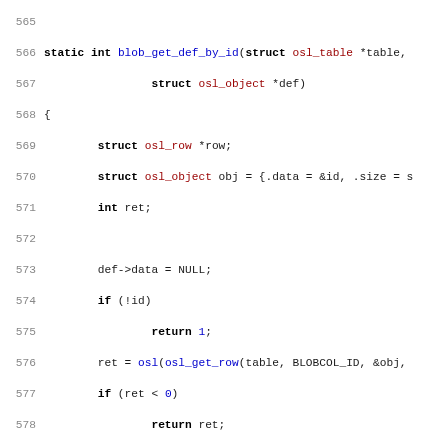[Figure (screenshot): Source code listing in C showing lines 565-596, including functions blob_get_def_by_id, DEFINE_GET_DEF_BY_ID macro, and blob_get_name_and_def_by_row, with line numbers in gray and keywords/types/function names color-coded.]